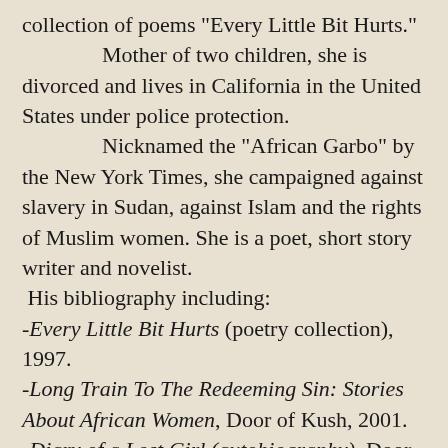collection of poems "Every Little Bit Hurts."
Mother of two children, she is divorced and lives in California in the United States under police protection.
Nicknamed the "African Garbo" by the New York Times, she campaigned against slavery in Sudan, against Islam and the rights of Muslim women. She is a poet, short story writer and novelist.
His bibliography including:
-Every Little Bit Hurts (poetry collection), 1997.
-Long Train To The Redeeming Sin: Stories About African Women, Door of Kush, 2001.
-Diary of a Lost Girl (autobiography), Door of Kush, 2003.
-Flesh and the Devil (with Said Musa), Door of